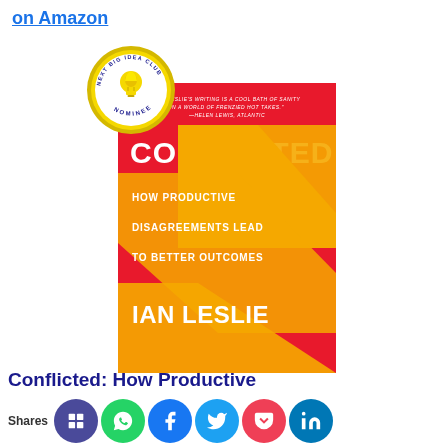on Amazon
[Figure (illustration): Book cover of 'Conflicted: How Productive Disagreements Lead to Better Outcomes' by Ian Leslie. Red background with orange diamond/arrow shapes. White bold text. A 'Next Big Idea Club Nominee' badge in top-left corner.]
Conflicted: How Productive
Shares